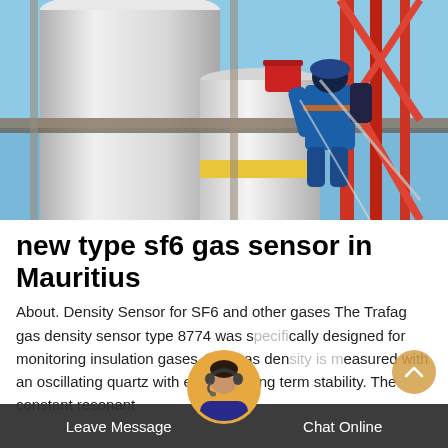[Figure (photo): Industrial workers on scaffolding next to large white cylindrical structures and red metal framework, outdoor scene with blue sky background.]
new type sf6 gas sensor in Mauritius
About. Density Sensor for SF6 and other gases The Trafag gas density sensor type 8774 was specifically designed for monitoring insulation gases. The gas density is measured with an oscillating quartz with excellent long term stability. The constant resonant